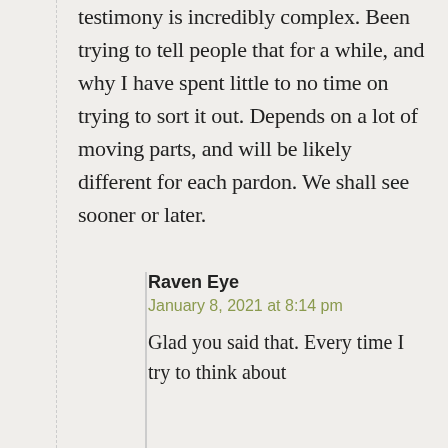testimony is incredibly complex. Been trying to tell people that for a while, and why I have spent little to no time on trying to sort it out. Depends on a lot of moving parts, and will be likely different for each pardon. We shall see sooner or later.
Raven Eye
January 8, 2021 at 8:14 pm
Glad you said that. Every time I try to think about